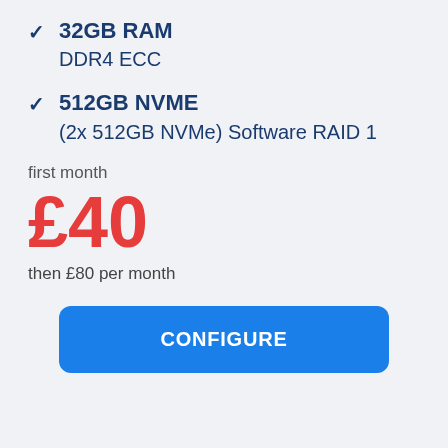32GB RAM DDR4 ECC
512GB NVME (2x 512GB NVMe) Software RAID 1
first month
£40
then £80 per month
CONFIGURE